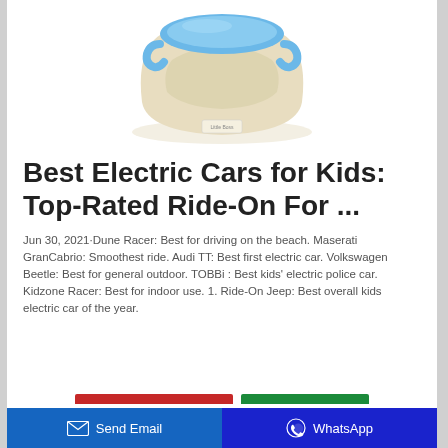[Figure (photo): Product photo of a children's potty training toilet with beige/cream body and blue lid/seat, viewed from a slight angle. Small label on the front.]
Best Electric Cars for Kids: Top-Rated Ride-On For ...
Jun 30, 2021·Dune Racer: Best for driving on the beach. Maserati GranCabrio: Smoothest ride. Audi TT: Best first electric car. Volkswagen Beetle: Best for general outdoor. TOBBi : Best kids' electric police car. Kidzone Racer: Best for indoor use. 1. Ride-On Jeep: Best overall kids electric car of the year.
Send Email | WhatsApp